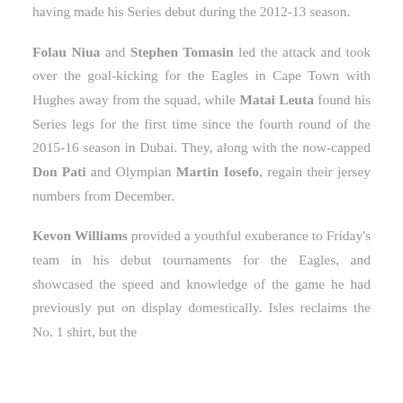having made his Series debut during the 2012-13 season.
Folau Niua and Stephen Tomasin led the attack and took over the goal-kicking for the Eagles in Cape Town with Hughes away from the squad, while Matai Leuta found his Series legs for the first time since the fourth round of the 2015-16 season in Dubai. They, along with the now-capped Don Pati and Olympian Martin Iosefo, regain their jersey numbers from December.
Kevon Williams provided a youthful exuberance to Friday's team in his debut tournaments for the Eagles, and showcased the speed and knowledge of the game he had previously put on display domestically. Isles reclaims the No. 1 shirt, but the